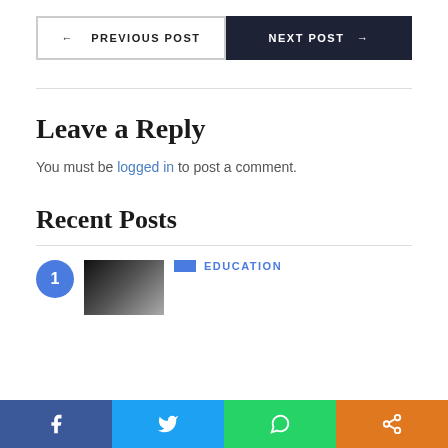← PREVIOUS POST
NEXT POST →
Leave a Reply
You must be logged in to post a comment.
Recent Posts
1
EDUCATION